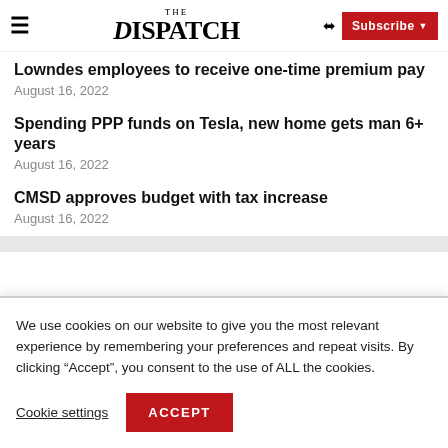The Dispatch
Lowndes employees to receive one-time premium pay
August 16, 2022
Spending PPP funds on Tesla, new home gets man 6+ years
August 16, 2022
CMSD approves budget with tax increase
August 16, 2022
We use cookies on our website to give you the most relevant experience by remembering your preferences and repeat visits. By clicking “Accept”, you consent to the use of ALL the cookies.
Cookie settings | ACCEPT